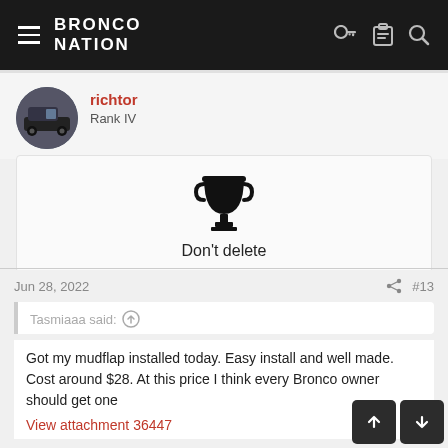BRONCO NATION
[Figure (photo): Circular avatar image of a blue Bronco truck off-road]
richtor
Rank IV
[Figure (illustration): Trophy/cup icon in black]
Don't delete
Jun 28, 2022
#13
Tasmiaaa said:
Got my mudflap installed today. Easy install and well made. Cost around $28. At this price I think every Bronco owner should get one
View attachment 36447